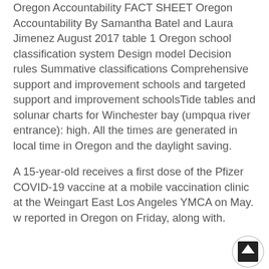Oregon Accountability FACT SHEET Oregon Accountability By Samantha Batel and Laura Jimenez August 2017 table 1 Oregon school classification system Design model Decision rules Summative classifications Comprehensive support and improvement schools and targeted support and improvement schoolsTide tables and solunar charts for Winchester bay (umpqua river entrance): high. All the times are generated in local time in Oregon and the daylight saving.
A 15-year-old receives a first dose of the Pfizer COVID-19 vaccine at a mobile vaccination clinic at the Weingart East Los Angeles YMCA on May. w reported in Oregon on Friday, along with.